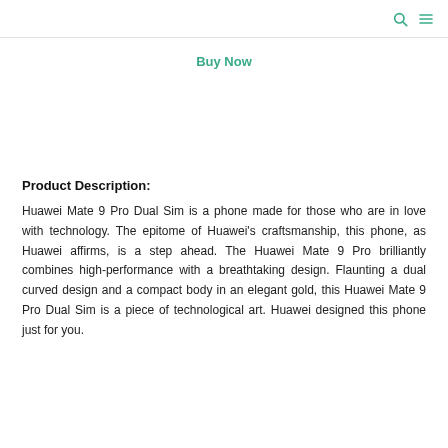Buy Now
Product Description:
Huawei Mate 9 Pro Dual Sim is a phone made for those who are in love with technology. The epitome of Huawei's craftsmanship, this phone, as Huawei affirms, is a step ahead. The Huawei Mate 9 Pro brilliantly combines high-performance with a breathtaking design. Flaunting a dual curved design and a compact body in an elegant gold, this Huawei Mate 9 Pro Dual Sim is a piece of technological art. Huawei designed this phone just for you.